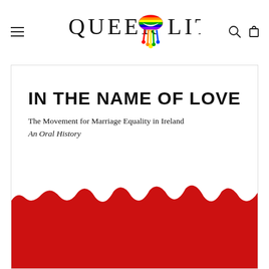[Figure (logo): QueerLit website header with hamburger menu icon on left, QueerLit logo in center featuring rainbow dripping lips graphic between 'QUEER' and 'LIT' text, search and shopping bag icons on right]
[Figure (illustration): Book cover card showing 'IN THE NAME OF LOVE' as bold uppercase title, subtitle 'The Movement for Marriage Equality in Ireland' and 'An Oral History' in italic, with a red torn paper texture filling the lower portion of the cover]